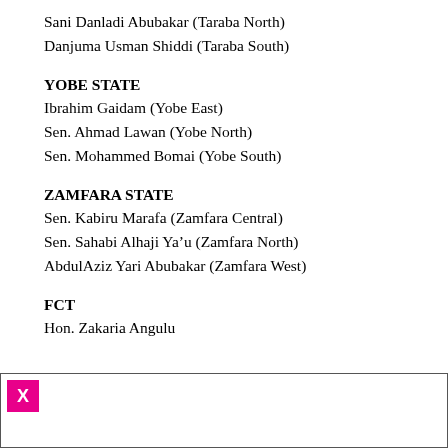Sani Danladi Abubakar (Taraba North)
Danjuma Usman Shiddi (Taraba South)
YOBE STATE
Ibrahim Gaidam (Yobe East)
Sen. Ahmad Lawan (Yobe North)
Sen. Mohammed Bomai (Yobe South)
ZAMFARA STATE
Sen. Kabiru Marafa (Zamfara Central)
Sen. Sahabi Alhaji Ya’u (Zamfara North)
AbdulAziz Yari Abubakar (Zamfara West)
FCT
Hon. Zakaria Angulu
[Figure (other): Box with a pink/magenta X mark in the top-left corner]